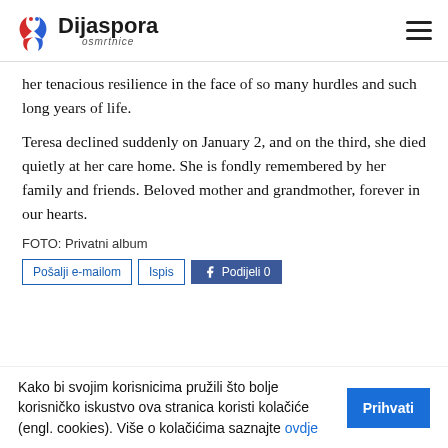Dijaspora osmrtnice
her tenacious resilience in the face of so many hurdles and such long years of life.
Teresa declined suddenly on January 2, and on the third, she died quietly at her care home. She is fondly remembered by her family and friends. Beloved mother and grandmother, forever in our hearts.
FOTO: Privatni album
Pošalji e-mailom | Ispis | Podijeli 0
Kako bi svojim korisnicima pružili što bolje korisničko iskustvo ova stranica koristi kolačiće (engl. cookies). Više o kolačićima saznajte ovdje